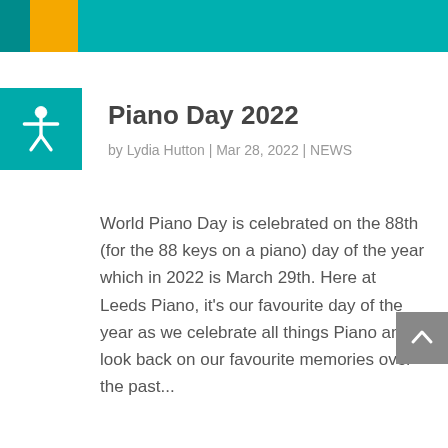[Figure (other): Teal and yellow header bar at top of page]
Piano Day 2022
by Lydia Hutton | Mar 28, 2022 | NEWS
World Piano Day is celebrated on the 88th (for the 88 keys on a piano) day of the year which in 2022 is March 29th. Here at Leeds Piano, it's our favourite day of the year as we celebrate all things Piano and look back on our favourite memories over the past...